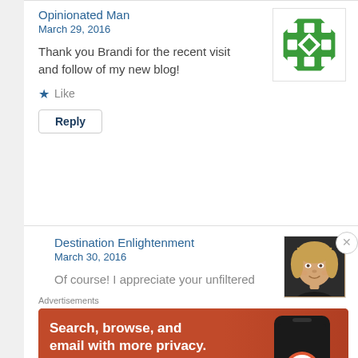Opinionated Man
March 29, 2016
Thank you Brandi for the recent visit and follow of my new blog!
★ Like
Reply
[Figure (logo): Green octagon logo with white diamond pattern]
Destination Enlightenment
March 30, 2016
Of course! I appreciate your unfiltered
[Figure (photo): Profile photo of a blonde woman smiling]
Advertisements
[Figure (infographic): DuckDuckGo advertisement: Search, browse, and email with more privacy. All in One Free App. Shows a phone with DuckDuckGo logo.]